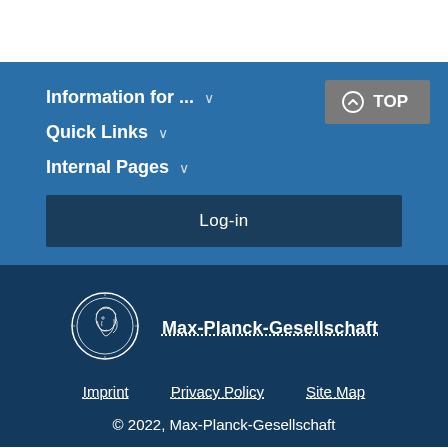Information for ... ∨
Quick Links ∨
Internal Pages ∨
Log-in
[Figure (logo): Max-Planck-Gesellschaft coin/medallion logo — circular emblem with classical profile]
Max-Planck-Gesellschaft
Imprint   Privacy Policy   Site Map
© 2022, Max-Planck-Gesellschaft